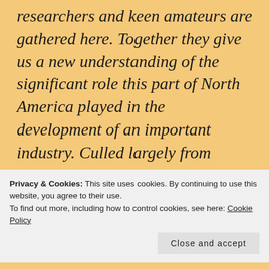researchers and keen amateurs are gathered here. Together they give us a new understanding of the significant role this part of North America played in the development of an important industry. Culled largely from journals and government files, these articles and reports together make a noteworthy contribution to the
Privacy & Cookies: This site uses cookies. By continuing to use this website, you agree to their use. To find out more, including how to control cookies, see here: Cookie Policy
Close and accept
Theodore Catton: